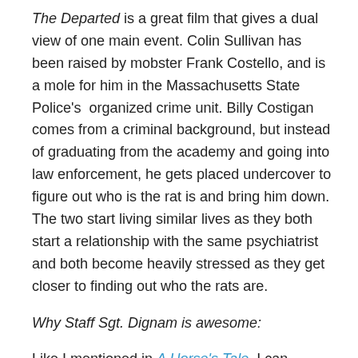The Departed is a great film that gives a dual view of one main event. Colin Sullivan has been raised by mobster Frank Costello, and is a mole for him in the Massachusetts State Police's organized crime unit. Billy Costigan comes from a criminal background, but instead of graduating from the academy and going into law enforcement, he gets placed undercover to figure out who is the rat is and bring him down. The two start living similar lives as they both start a relationship with the same psychiatrist and both become heavily stressed as they get closer to finding out who the rats are.
Why Staff Sgt. Dignam is awesome:
Like I mentioned in A Horse's Tale, I can tolerate very few Matt Damon films. However, I absolutely love Mark Wahlberg, he's just so attractive! Anyways, Mark Dignam